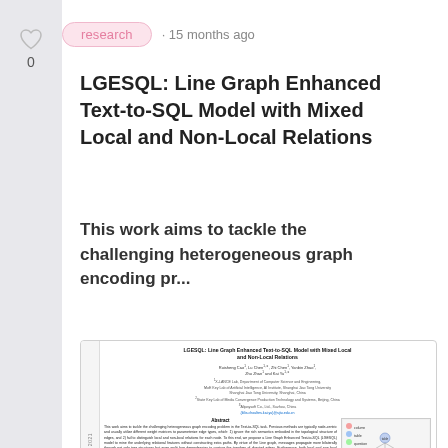research · 15 months ago
LGESQL: Line Graph Enhanced Text-to-SQL Model with Mixed Local and Non-Local Relations
This work aims to tackle the challenging heterogeneous graph encoding pr...
[Figure (screenshot): Thumbnail preview of the research paper PDF showing title, authors, abstract, and a figure with graph diagrams illustrating the LGESQL model architecture. Left side shows vertical arxiv metadata text.]